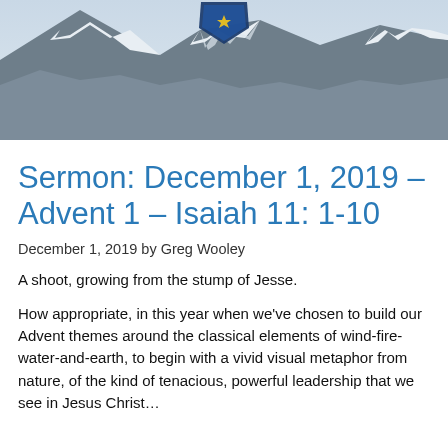[Figure (photo): Mountain landscape with snow-capped peaks and a church or organization logo/shield badge at the top center]
Sermon: December 1, 2019 – Advent 1 – Isaiah 11: 1-10
December 1, 2019 by Greg Wooley
A shoot, growing from the stump of Jesse.
How appropriate, in this year when we've chosen to build our Advent themes around the classical elements of wind-fire-water-and-earth, to begin with a vivid visual metaphor from nature, of the kind of tenacious, powerful leadership that we see in Jesus Christ...